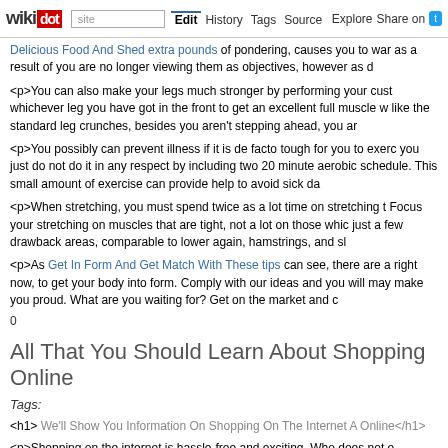wikidot | site | Edit | History | Tags | Source | Explore | Share on [Twitter]
Delicious Food And Shed extra pounds of pondering, causes you to war as a result of you are no longer viewing them as objectives, however as d
<p>You can also make your legs much stronger by performing your cust whichever leg you have got in the front to get an excellent full muscle w like the standard leg crunches, besides you aren't stepping ahead, you ar
<p>You possibly can prevent illness if it is de facto tough for you to exerc you just do not do it in any respect by including two 20 minute aerobic schedule. This small amount of exercise can provide help to avoid sick da
<p>When stretching, you must spend twice as a lot time on stretching t Focus your stretching on muscles that are tight, not a lot on those whic just a few drawback areas, comparable to lower again, hamstrings, and sl
<p>As Get In Form And Get Match With These tips can see, there are a right now, to get your body into form. Comply with our ideas and you will may make you proud. What are you waiting for? Get on the market and c
0
All That You Should Learn About Shopping Online
Tags:
<h1> We'll Show You Information On Shopping On The Internet A Online</h1>
<p>Shopping on the internet is hassle-free and exciting. Who does not e